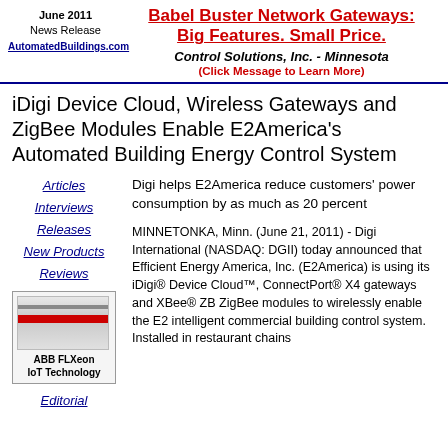June 2011
News Release
AutomatedBuildings.com
Babel Buster Network Gateways: Big Features. Small Price.
Control Solutions, Inc. - Minnesota
(Click Message to Learn More)
iDigi Device Cloud, Wireless Gateways and ZigBee Modules Enable E2America's Automated Building Energy Control System
Articles
Interviews
Releases
New Products
Reviews
[Figure (photo): ABB FLXeon IoT Technology device image]
ABB FLXeon
IoT Technology
Digi helps E2America reduce customers' power consumption by as much as 20 percent
MINNETONKA, Minn. (June 21, 2011) - Digi International (NASDAQ: DGII) today announced that Efficient Energy America, Inc. (E2America) is using its iDigi® Device Cloud™, ConnectPort® X4 gateways and XBee® ZB ZigBee modules to wirelessly enable the E2 intelligent commercial building control system.  Installed in restaurant chains
Editorial